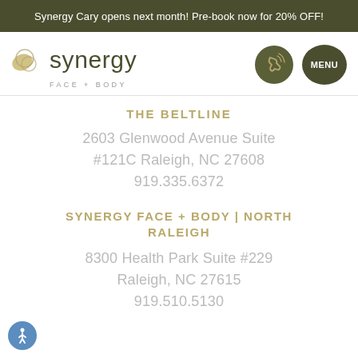Synergy Cary opens next month! Pre-book now for 20% OFF!
[Figure (logo): Synergy Face + Body logo with overlapping circle/leaf icon and text 'synergy FACE + BODY']
THE BELTLINE
2603 Glenwood Avenue Suite #121C Raleigh, NC 27608
919.335.6372
SYNERGY FACE + BODY | NORTH RALEIGH
8300 Health Park Suite #229 Raleigh, NC 27615
919.510.5130